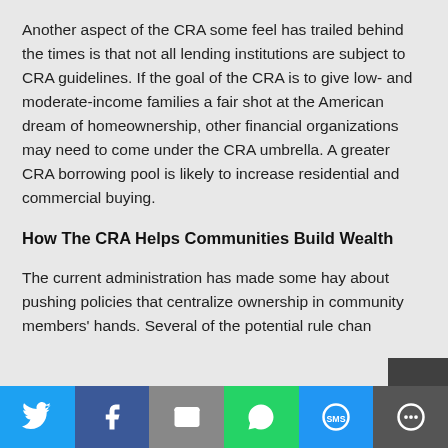Another aspect of the CRA some feel has trailed behind the times is that not all lending institutions are subject to CRA guidelines. If the goal of the CRA is to give low- and moderate-income families a fair shot at the American dream of homeownership, other financial organizations may need to come under the CRA umbrella. A greater CRA borrowing pool is likely to increase residential and commercial buying.
How The CRA Helps Communities Build Wealth
The current administration has made some hay about pushing policies that centralize ownership in community members' hands. Several of the potential rule chan...